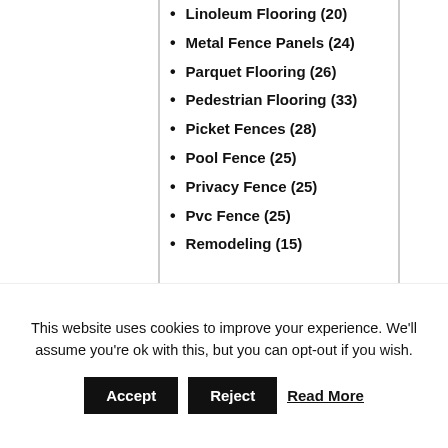Linoleum Flooring (20)
Metal Fence Panels (24)
Parquet Flooring (26)
Pedestrian Flooring (33)
Picket Fences (28)
Pool Fence (25)
Privacy Fence (25)
Pvc Fence (25)
Remodeling (15)
This website uses cookies to improve your experience. We'll assume you're ok with this, but you can opt-out if you wish.
Accept | Reject | Read More